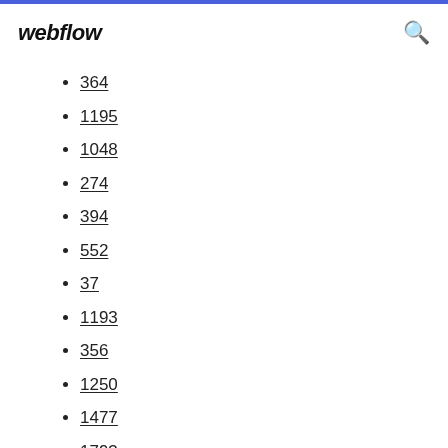webflow
364
1195
1048
274
394
552
37
1193
356
1250
1477
1793